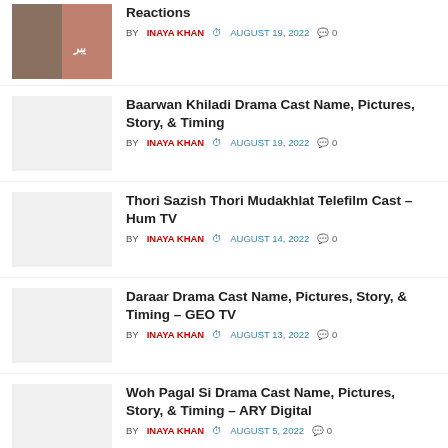Reactions — BY INAYA KHAN AUGUST 19, 2022 0
Baarwan Khiladi Drama Cast Name, Pictures, Story, & Timing — BY INAYA KHAN AUGUST 19, 2022 0
Thori Sazish Thori Mudakhlat Telefilm Cast – Hum TV — BY INAYA KHAN AUGUST 14, 2022 0
Daraar Drama Cast Name, Pictures, Story, & Timing – GEO TV — BY INAYA KHAN AUGUST 13, 2022 0
Woh Pagal Si Drama Cast Name, Pictures, Story, & Timing – ARY Digital — BY INAYA KHAN AUGUST 5, 2022 0
Ant ul Hayat Drama Cast Name, Pictures, Story, & Timing – Hum TV